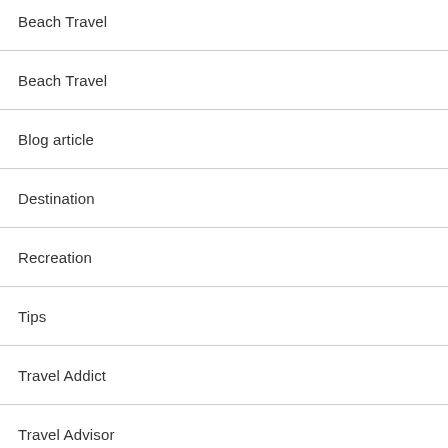Beach Travel
Beach Travel
Blog article
Destination
Recreation
Tips
Travel Addict
Travel Advisor
Travel Alerts
Travel Guard